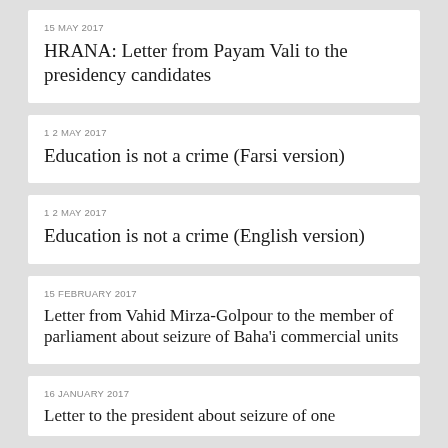15 MAY 2017 — HRANA: Letter from Payam Vali to the presidency candidates
12 MAY 2017 — Education is not a crime (Farsi version)
12 MAY 2017 — Education is not a crime (English version)
15 FEBRUARY 2017 — Letter from Vahid Mirza-Golpour to the member of parliament about seizure of Baha'i commercial units
16 JANUARY 2017 — Letter to the president about seizure of one